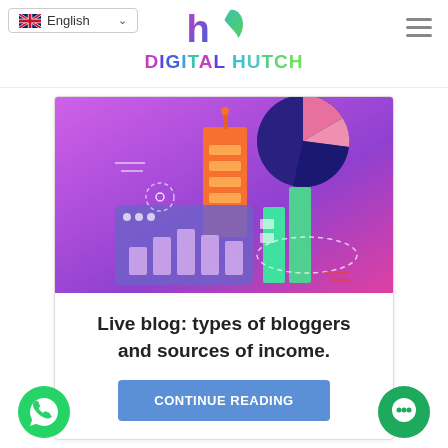Digital Hutch website header with English language selector and hamburger menu
[Figure (illustration): Digital marketing illustration on purple/pink gradient background with bar charts, pie chart, building, and analytics graphics]
Live blog: types of bloggers and sources of income.
CONTINUE READING
[Figure (logo): WhatsApp green circle button with phone icon]
[Figure (logo): Chat green circle button with chat bubble icon]